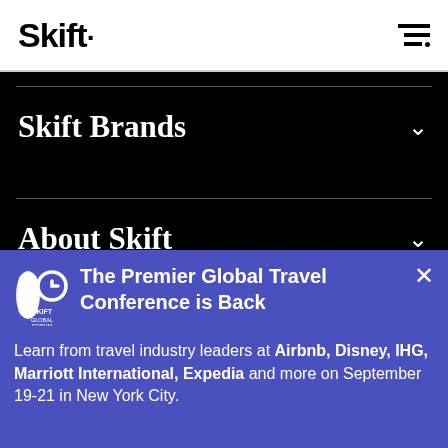Skift
Skift Brands
About Skift
Follow Us
[Figure (infographic): Skift Global Forum promotional banner advertisement on blue/purple background featuring logo and text: The Premier Global Travel Conference is Back. Learn from travel industry leaders at Airbnb, Disney, IHG, Marriott International, Expedia and more on September 19-21 in New York City.]